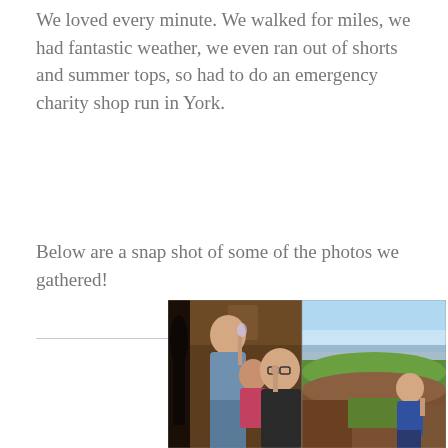We loved every minute. We walked for miles, we had fantastic weather, we even ran out of shorts and summer tops, so had to do an emergency charity shop run in York.
Below are a snap shot of some of the photos we gathered!
[Figure (photo): Two side-by-side photos: left shows people indoors drinking/toasting in a dark pub or restaurant setting; right shows a person on a hilltop with a scenic green landscape and coast visible in the background.]